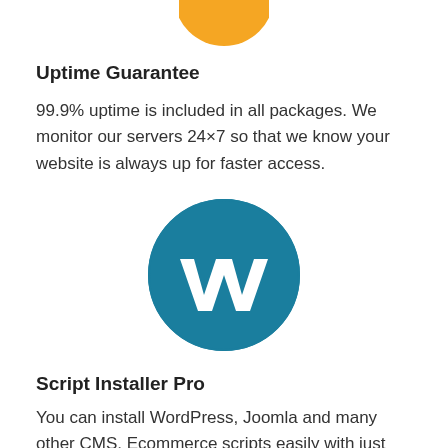[Figure (logo): Partial golden/yellow circular logo visible at top of page (cropped)]
Uptime Guarantee
99.9% uptime is included in all packages. We monitor our servers 24×7 so that we know your website is always up for faster access.
[Figure (logo): WordPress logo — teal/blue circle with white W letter mark]
Script Installer Pro
You can install WordPress, Joomla and many other CMS, Ecommerce scripts easily with just few clicks.